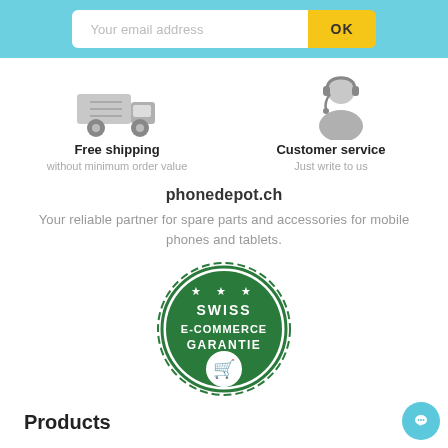[Figure (screenshot): Email subscription bar with input field 'Your email address' and yellow OK button on light blue background]
[Figure (illustration): Grey delivery truck icon]
Free shipping
without minimum order value
[Figure (illustration): Grey customer service agent with headset icon]
Customer service
Just write to us
phonedepot.ch
Your reliable partner for spare parts and accessories for mobile phones and tablets.
[Figure (logo): Swiss E-Commerce Garantie green seal badge with stars and shopping cart icon]
Products